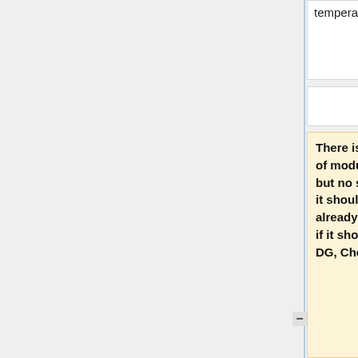temperature, dev kit
temperature, dev kit
There is the range (-25°C~80°C) of module in module datasheet, but no such info of dev kit, even it should be the same as module, already informed Brian to check if it should be included in OEM DG, Checked internal the
The range of dev kit should be 0c ~ 50c.